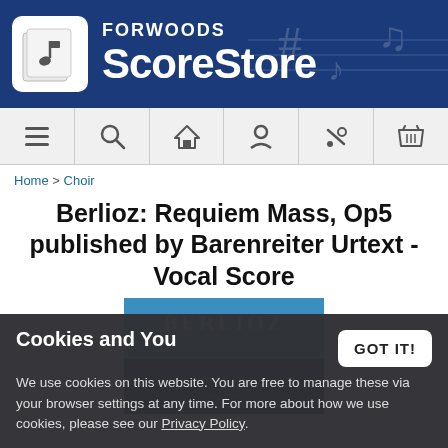FORWOODS ScoreStore
Home > Choir
Berlioz: Requiem Mass, Op5 published by Barenreiter Urtext - Vocal Score
[Figure (illustration): Book cover showing 'BERLIOZ' in gold text on steel blue background with dark section below]
Cookies and You
We use cookies on this website. You are free to manage these via your browser settings at any time. For more about how we use cookies, please see our Privacy Policy.